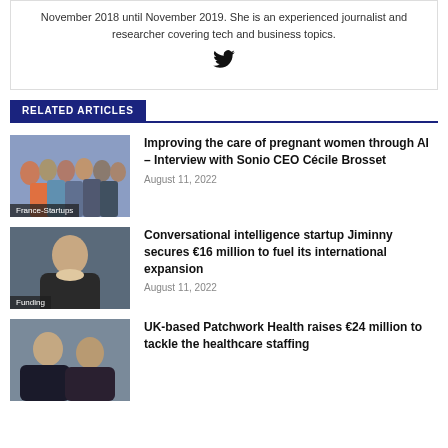November 2018 until November 2019. She is an experienced journalist and researcher covering tech and business topics.
[Figure (illustration): Twitter bird icon]
RELATED ARTICLES
[Figure (photo): Group photo of a startup team, labeled France-Startups]
Improving the care of pregnant women through AI – Interview with Sonio CEO Cécile Brosset
August 11, 2022
[Figure (photo): Portrait of a man in a dark jacket, labeled Funding]
Conversational intelligence startup Jiminny secures €16 million to fuel its international expansion
August 11, 2022
[Figure (photo): Portrait photo of two people, related to Patchwork Health article]
UK-based Patchwork Health raises €24 million to tackle the healthcare staffing